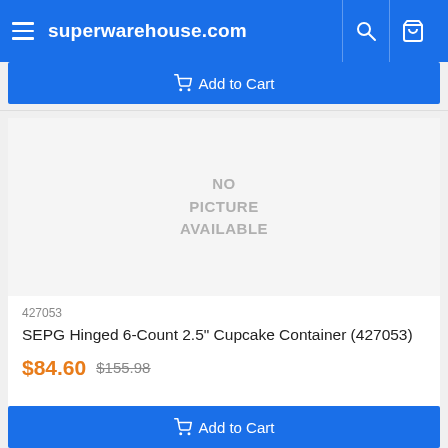superwarehouse.com
Add to Cart
[Figure (photo): No picture available placeholder for product image]
427053
SEPG Hinged 6-Count 2.5" Cupcake Container (427053)
$84.60 $155.98
Add to Cart